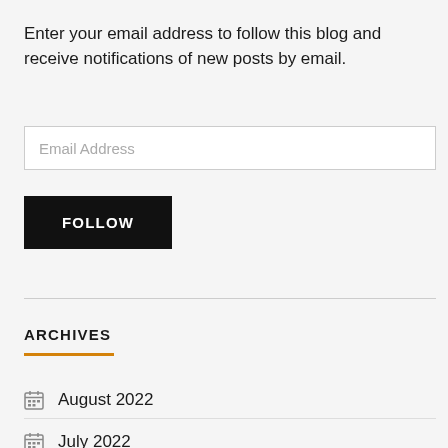Enter your email address to follow this blog and receive notifications of new posts by email.
[Figure (other): Email address input field with placeholder text 'Email Address']
[Figure (other): Black FOLLOW button]
ARCHIVES
August 2022
July 2022